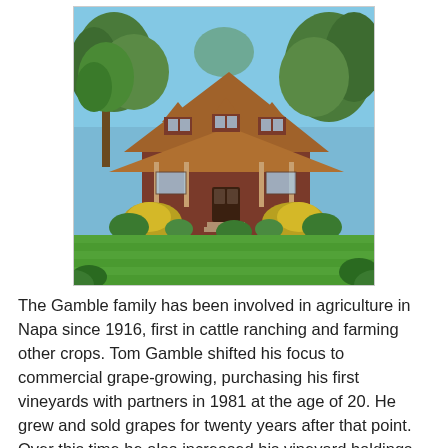[Figure (photo): A country farmhouse with a brown shingled roof featuring three dormer windows, a wraparound porch, surrounded by green lawn, flowering yellow bushes, and trees under a blue sky.]
The Gamble family has been involved in agriculture in Napa since 1916, first in cattle ranching and farming other crops. Tom Gamble shifted his focus to commercial grape-growing, purchasing his first vineyards with partners in 1981 at the age of 20. He grew and sold grapes for twenty years after that point. Over this time he also increased his vineyard holdings. Then in 2005, he finally established Gamble Family